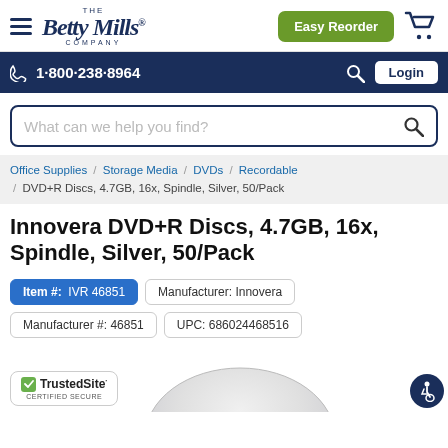Betty Mills Company — Easy Reorder
1·800·238·8964  Login
What can we help you find?
Office Supplies / Storage Media / DVDs / Recordable / DVD+R Discs, 4.7GB, 16x, Spindle, Silver, 50/Pack
Innovera DVD+R Discs, 4.7GB, 16x, Spindle, Silver, 50/Pack
Item #:  IVR 46851
Manufacturer: Innovera
Manufacturer #: 46851
UPC: 686024468516
[Figure (logo): TrustedSite Certified Secure badge]
[Figure (photo): Partial view of a silver DVD+R disc spindle]